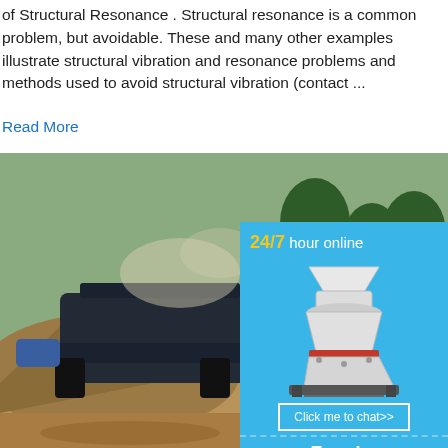of Structural Resonance . Structural resonance is a common problem, but avoidable. These and many other examples illustrate structural vibration and resonance problems and methods used to avoid structural vibration (contact ...
Read More
[Figure (photo): Heavy construction/mining machinery (vibrating screen) operating outdoors with dust and gravel mound]
F-CLASS VIBRATING SCREEN - minexpo
Eliminating vibration preserves the integrity or portable chassis — and permits multiple installation. SHEAR RUBBER MOUNTING rubber mounts minimize the lateral movem traditional springs to reduce noise, maintain operation and extend the life of your F-Clas...
Read More
[Figure (infographic): Advertisement sidebar: 24/7 hour online, image of mining cone crusher machine, Click me to chat>> button, Enquiry section, limingjlmofen text]